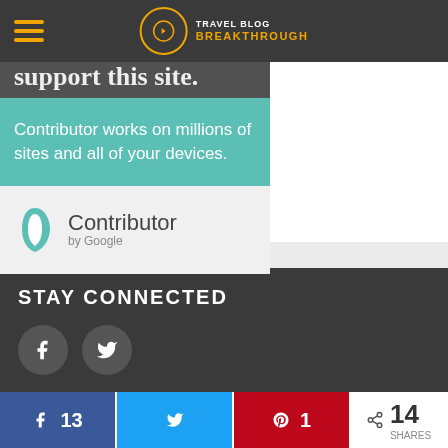[Figure (screenshot): Travel Blog Breakthrough website screenshot showing navigation bar with hamburger menu and logo, a Google Contributor ad banner with teal background saying 'Contributor works on millions of sites and all of your devices.', Contributor by Google logo, Stay Connected section with Facebook and Twitter icons, and a share bar at bottom showing 13 Facebook shares, Twitter share, 1 Pinterest share, and 14 total shares.]
STAY CONNECTED
13
1
14 SHARES